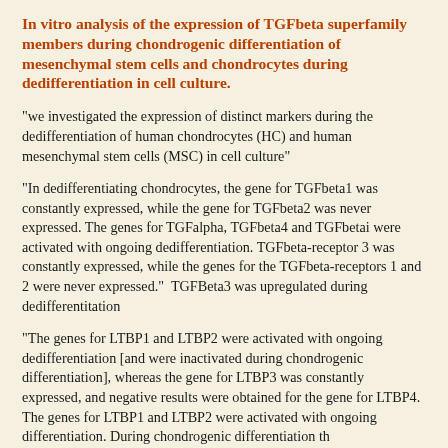In vitro analysis of the expression of TGFbeta superfamily members during chondrogenic differentiation of mesenchymal stem cells and chondrocytes during dedifferentiation in cell culture.
"we investigated the expression of distinct markers during the dedifferentiation of human chondrocytes (HC) and human mesenchymal stem cells (MSC) in cell culture"
"In dedifferentiating chondrocytes, the gene for TGFbeta1 was constantly expressed, while the gene for TGFbeta2 was never expressed. The genes for TGFalpha, TGFbeta4 and TGFbetai were activated with ongoing dedifferentiation. TGFbeta-receptor 3 was constantly expressed, while the genes for the TGFbeta-receptors 1 and 2 were never expressed."  TGFBeta3 was upregulated during dedifferentitation
"The genes for LTBP1 and LTBP2 were activated with ongoing dedifferentiation [and were inactivated during chondrogenic differentiation], whereas the gene for LTBP3 was constantly expressed, and negative results were obtained for the gene for LTBP4. The genes for LTBP1 and LTBP2 were activated with ongoing differentiation. During chondrogenic differentiation th